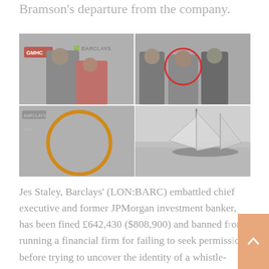Bramson's departure from the company.
[Figure (photo): Collage of four photos: top-left shows a man in a suit and a woman in a red dress at a GMHC/Barclays event; top-right shows three men in casual business attire with one circled in red; bottom-left shows a large orange circle drawn over a backdrop with Barclays logo; bottom-right shows a sailing yacht on water.]
Jes Staley, Barclays' (LON:BARC) embattled chief executive and former JPMorgan investment banker, has been fined £642,430 ($808,900) and banned from running a financial firm for failing to seek permission before trying to uncover the identity of a whistle-blower.